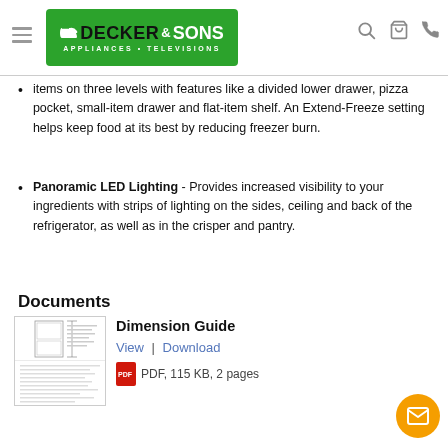Decker & Sons Appliances • Televisions
items on three levels with features like a divided lower drawer, pizza pocket, small-item drawer and flat-item shelf. An Extend-Freeze setting helps keep food at its best by reducing freezer burn.
Panoramic LED Lighting - Provides increased visibility to your ingredients with strips of lighting on the sides, ceiling and back of the refrigerator, as well as in the crisper and pantry.
Documents
[Figure (other): Thumbnail preview of Dimension Guide PDF document showing refrigerator diagrams]
Dimension Guide
View | Download
PDF, 115 KB, 2 pages